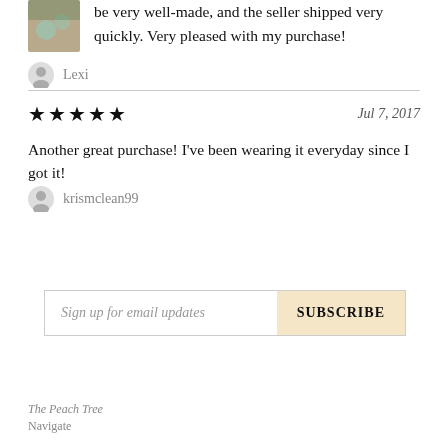be very well-made, and the seller shipped very quickly. Very pleased with my purchase!
Lexi
★★★★★  Jul 7, 2017
Another great purchase! I've been wearing it everyday since I got it!
krismclean99
Sign up for email updates  SUBSCRIBE
The Peach Tree
Navigate